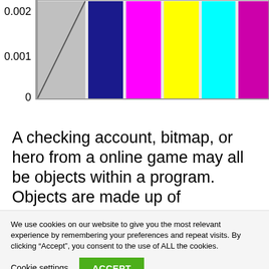[Figure (other): Partial view of a bar chart or color spectrum chart showing y-axis labels 0.002, 0.001, 0 and colored vertical bars (dark blue, magenta, yellow, cyan, and a partially visible color) with a diagonal line overlay on a gray/white background]
A checking account, bitmap, or hero from a online game may all be objects within a program. Objects are made up of properties and methods which are
We use cookies on our website to give you the most relevant experience by remembering your preferences and repeat visits. By clicking “Accept”, you consent to the use of ALL the cookies.
Cookie settings
ACCEPT